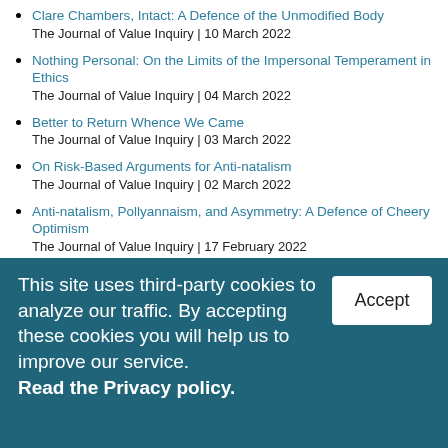Clare Chambers, Intact: A Defence of the Unmodified Body
The Journal of Value Inquiry | 10 March 2022
Nothing Personal: On the Limits of the Impersonal Temperament in Ethics
The Journal of Value Inquiry | 04 March 2022
Better to Return Whence We Came
The Journal of Value Inquiry | 03 March 2022
On Risk-Based Arguments for Anti-natalism
The Journal of Value Inquiry | 02 March 2022
Anti-natalism, Pollyannaism, and Asymmetry: A Defence of Cheery Optimism
The Journal of Value Inquiry | 17 February 2022
The Mirage of Motivation Reason Internalism
This site uses third-party cookies to analyze our traffic. By accepting these cookies you will help us to improve our service. Read the Privacy policy.